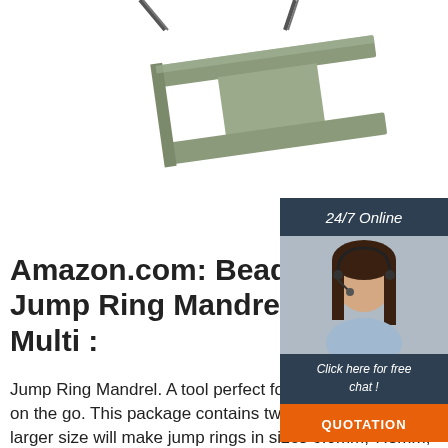[Figure (photo): Product photo of a Beadalon Jump Ring Mandrell suspended by cables/straps on a white background, viewed from below at an angle.]
[Figure (infographic): Chat widget with dark header reading '24/7 Online', photo of smiling female customer service agent wearing headset, dark panel with italic text 'Click here for free chat !', and orange button labeled 'QUOTATION']
Amazon.com: Beadalon Jump Ring Mandrell-Ro Multi :
Jump Ring Mandrel. A tool perfect for making jump rings on the go. This package contains two mandrels: the larger size will make jump rings in sizes 6.0mm, 7.3mm, 8.2mm, 9.0mm, and
[Figure (logo): TOP logo with orange and red dots arranged in triangle above orange letters 'TOP']